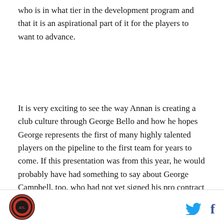who is in what tier in the development program and that it is an aspirational part of it for the players to want to advance.
It is very exciting to see the way Annan is creating a club culture through George Bello and how he hopes George represents the first of many highly talented players on the pipeline to the first team for years to come. If this presentation was from this year, he would probably have had something to say about George Campbell, too, who had not yet signed his pro contract when this presentation happened. In looking at how players have been handled since this presentation, we can start to see these practices in action with Efrain Morales as that top tier of talent, and Will Reilly, Josh
[Figure (logo): Circular logo with red and dark background, sports team emblem]